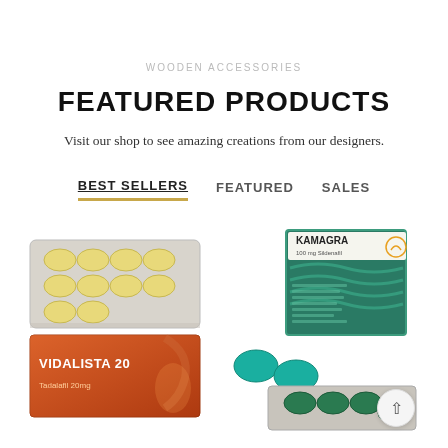WOODEN ACCESSORIES
FEATURED PRODUCTS
Visit our shop to see amazing creations from our designers.
BEST SELLERS   FEATURED   SALES
[Figure (photo): Vidalista 20 tablet blister pack showing yellow oval pills on top and orange branded packaging below]
[Figure (photo): Kamagra 100mg box with teal/turquoise loose pills and silver blister pack containing green pills]